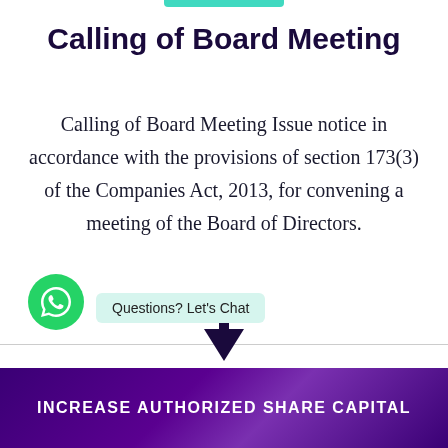Calling of Board Meeting
Calling of Board Meeting Issue notice in accordance with the provisions of section 173(3) of the Companies Act, 2013, for convening a meeting of the Board of Directors.
[Figure (infographic): WhatsApp chat widget with green circular WhatsApp icon and 'Questions? Let's Chat' label, with a downward arrow below]
INCREASE AUTHORIZED SHARE CAPITAL